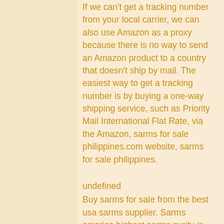If we can't get a tracking number from your local carrier, we can also use Amazon as a proxy because there is no way to send an Amazon product to a country that doesn't ship by mail. The easiest way to get a tracking number is by buying a one-way shipping service, such as Priority Mail International Flat Rate, via the Amazon, sarms for sale philippines.com website, sarms for sale philippines.
undefined
Buy sarms for sale from the best usa sarms supplier. Sarms america highest sarms purity in usa. Buy cheap sarms online with free shipping. Sarms for sale provides the highest quality liquid sarms available in the industry. Our products are only for research they are not intended for human. — the company has framed their sale of the drugs as an issue of personal freedom for consumers. "we feel